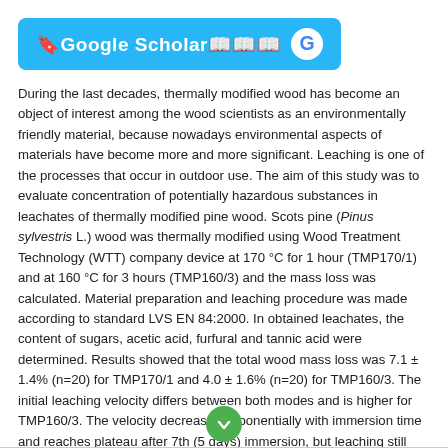[Figure (logo): Google Scholar button with cyan/blue background, white text reading 'Google Scholar' with special characters, and Google G logo on the right]
During the last decades, thermally modified wood has become an object of interest among the wood scientists as an environmentally friendly material, because nowadays environmental aspects of materials have become more and more significant. Leaching is one of the processes that occur in outdoor use. The aim of this study was to evaluate concentration of potentially hazardous substances in leachates of thermally modified pine wood. Scots pine (Pinus sylvestris L.) wood was thermally modified using Wood Treatment Technology (WTT) company device at 170 °C for 1 hour (TMP170/1) and at 160 °C for 3 hours (TMP160/3) and the mass loss was calculated. Material preparation and leaching procedure was made according to standard LVS EN 84:2000. In obtained leachates, the content of sugars, acetic acid, furfural and tannic acid were determined. Results showed that the total wood mass loss was 7.1 ± 1.4% (n=20) for TMP170/1 and 4.0 ± 1.6% (n=20) for TMP160/3. The initial leaching velocity differs between both modes and is higher for TMP160/3. The velocity decreases exponentially with immersion time and reaches plateau after 7th (5 days) immersion, but leaching still continues after the 9th immersion (14 days). The main components in leachates were tannic acid and pentoses. Among all studied compounds furfural is the hardest leachable one. Thermally modified wood treated at TMP170/1 is more environmentally friendly due to less water leachable substances. It is worth looki